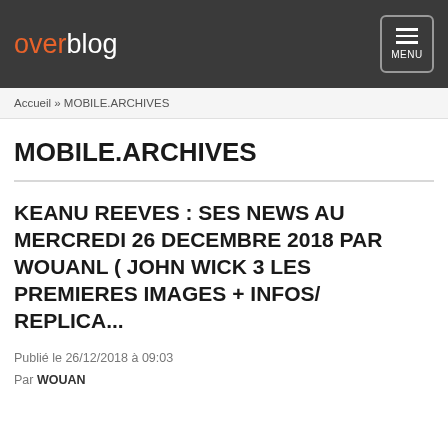overblog MENU
Accueil » MOBILE.ARCHIVES
MOBILE.ARCHIVES
KEANU REEVES : SES NEWS AU MERCREDI 26 DECEMBRE 2018 PAR WOUANL ( JOHN WICK 3 LES PREMIERES IMAGES + INFOS/ REPLICA...
Publié le 26/12/2018 à 09:03
Par WOUAN